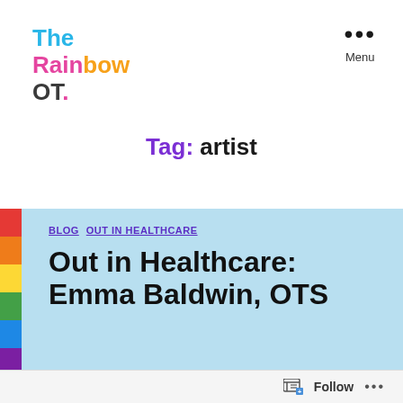[Figure (logo): The Rainbow OT logo in multicolor text]
Menu
Tag: artist
BLOG  OUT IN HEALTHCARE
Out in Healthcare: Emma Baldwin, OTS
Follow ...